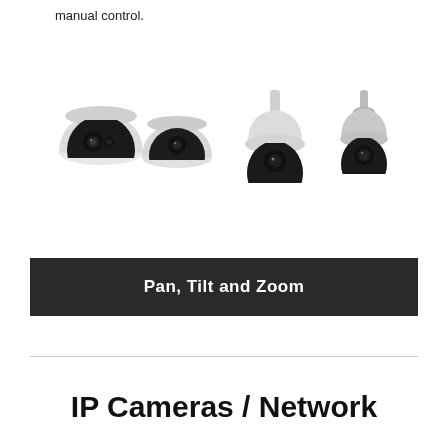manual control.
[Figure (photo): Four PTZ security cameras shown side by side: two indoor dome cameras on the left and two outdoor/speed dome cameras on the right, all white and black in color.]
Pan, Tilt and Zoom
IP Cameras / Network